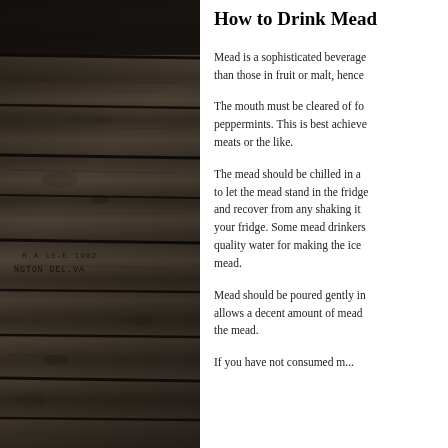[Figure (photo): Black and white photograph of weathered wooden planks/boards, with faint stamped text visible reading 'R.A 15-E 1902' and 'NGTON DEL...' suggesting a shipping crate or old wooden box]
How to Drink Mead
Mead is a sophisticated beverage than those in fruit or malt, hence
The mouth must be cleared of fo peppermints. This is best achieve meats or the like.
The mead should be chilled in a to let the mead stand in the fridge and recover from any shaking it your fridge. Some mead drinkers quality water for making the ice mead.
Mead should be poured gently in allows a decent amount of mead the mead.
If you have not consumed m...